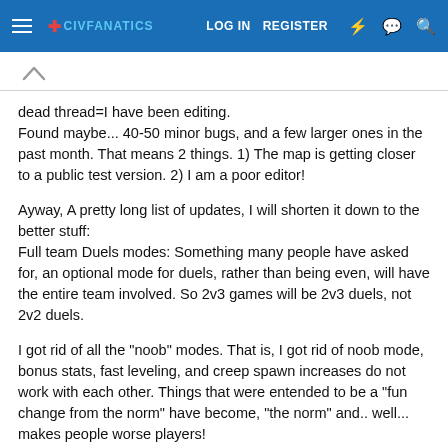LOG IN   REGISTER
dead thread=I have been editing.
Found maybe... 40-50 minor bugs, and a few larger ones in the past month. That means 2 things. 1) The map is getting closer to a public test version. 2) I am a poor editor!
Ayway, A pretty long list of updates, I will shorten it down to the better stuff:
Full team Duels modes: Something many people have asked for, an optional mode for duels, rather than being even, will have the entire team involved. So 2v3 games will be 2v3 duels, not 2v2 duels.
I got rid of all the "noob" modes. That is, I got rid of noob mode, bonus stats, fast leveling, and creep spawn increases do not work with each other. Things that were entended to be a "fun change from the norm" have become, "the norm" and.. well... makes people worse players!